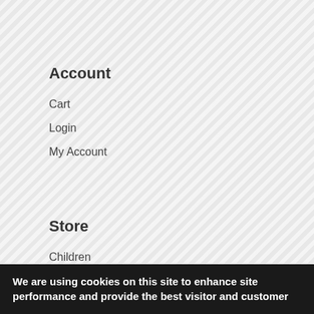Account
Cart
Login
My Account
Store
Children
Kilt Hire
We are using cookies on this site to enhance site performance and provide the best visitor and customer